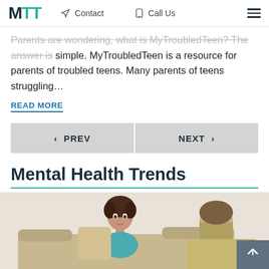MTT | Contact | Call Us
Parents are wondering, what is MyTroubledTeen? The answer is simple. MyTroubledTeen is a resource for parents of troubled teens. Many parents of teens struggling...
READ MORE
< PREV
NEXT >
Mental Health Trends
[Figure (photo): A teenage girl sitting on a couch looking at someone across from her, possibly a therapist or parent, in a counseling or conversation setting.]